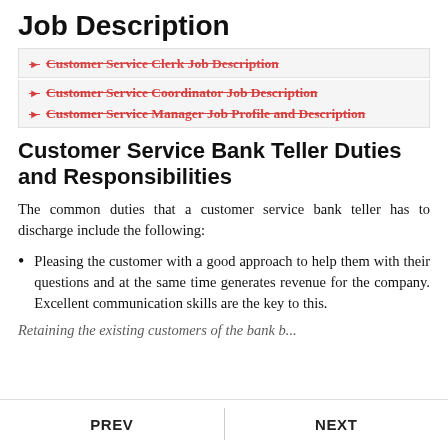Job Description
Customer Service Clerk Job Description
Customer Service Coordinator Job Description
Customer Service Manager Job Profile and Description
Customer Service Bank Teller Duties and Responsibilities
The common duties that a customer service bank teller has to discharge include the following:
Pleasing the customer with a good approach to help them with their questions and at the same time generates revenue for the company. Excellent communication skills are the key to this.
PREV    NEXT